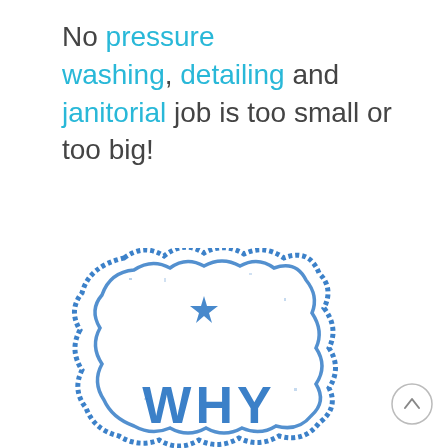No pressure washing, detailing and janitorial job is too small or too big!
[Figure (illustration): A blue rubber stamp badge shape with the word WHY visible at the bottom, with a star in the center top area. The stamp has a distressed/grunge texture with double-line border in cobalt blue.]